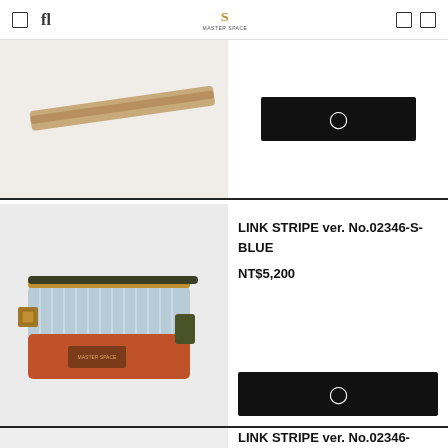Navigation bar with menu, search icons, logo, and cart/account icons
[Figure (photo): Partial product image at top, tan/beige rod or stick visible against white background]
[Figure (photo): LINK STRIPE ver. No.02346-S-BLUE sling/fanny pack bag with light blue striped top section, burnt orange bottom, gold buckle hardware, dark olive strap]
LINK STRIPE ver. No.02346-S-BLUE
NT$5,200
LINK STRIPE ver. No.02346-